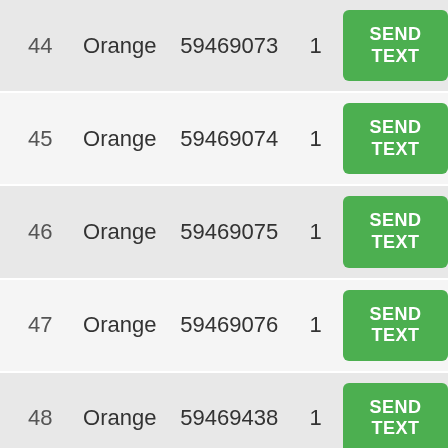| # | Label | Phone | Count | Action |
| --- | --- | --- | --- | --- |
| 44 | Orange | 59469073 | 1 | SEND TEXT |
| 45 | Orange | 59469074 | 1 | SEND TEXT |
| 46 | Orange | 59469075 | 1 | SEND TEXT |
| 47 | Orange | 59469076 | 1 | SEND TEXT |
| 48 | Orange | 59469438 | 1 | SEND TEXT |
| 49 | Orange | 59469440 | 1 | SEND TEXT |